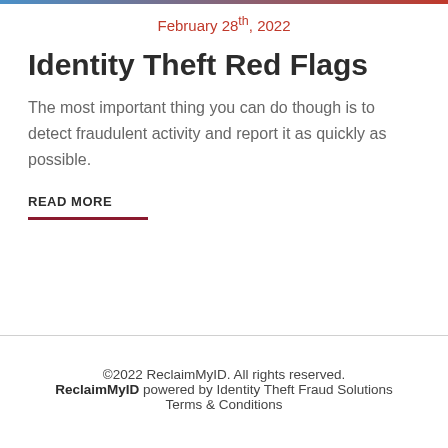February 28th, 2022
Identity Theft Red Flags
The most important thing you can do though is to detect fraudulent activity and report it as quickly as possible.
READ MORE
©2022 ReclaimMyID. All rights reserved.
ReclaimMyID powered by Identity Theft Fraud Solutions
Terms & Conditions